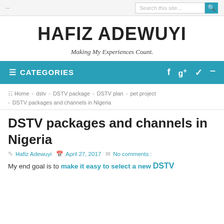- Search this site...
HAFIZ ADEWUYI
Making My Experiences Count.
≡ CATEGORIES  f  g+  ✦  ⊕
Home › dstv › DSTV package › DSTV plan › pet project
› DSTV packages and channels in Nigeria
DSTV packages and channels in Nigeria
Hafiz Adewuyi  April 27, 2017  No comments :
My end goal is to make it easy to select a new DSTV